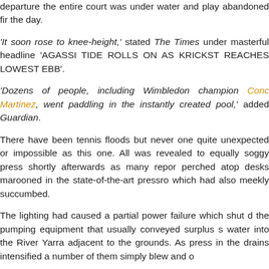departure the entire court was under water and play abandoned fir the day.
'It soon rose to knee-height,' stated The Times under masterful headline 'AGASSI TIDE ROLLS ON AS KRICKST REACHES LOWEST EBB'.
'Dozens of people, including Wimbledon champion Conc Martinez, went paddling in the instantly created pool,' added Guardian.
There have been tennis floods but never one quite unexpected or impossible as this one. All was revealed to equally soggy press shortly afterwards as many repor perched atop desks marooned in the state-of-the-art pressro which had also meekly succumbed.
The lighting had caused a partial power failure which shut d the pumping equipment that usually conveyed surplus s water into the River Yarra adjacent to the grounds. As press in the drains intensified a number of them simply blew and o